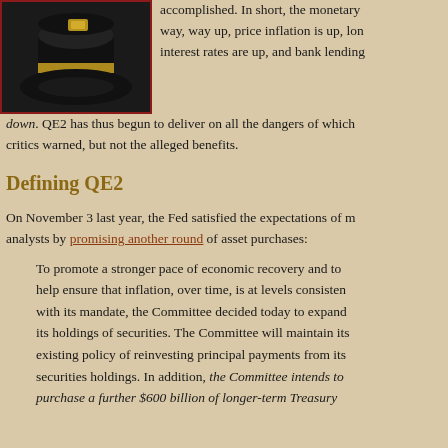[Figure (photo): A black top hat with a yellow/gold band, shown from above at an angle, against a white background, inside a red-bordered box.]
accomplished. In short, the monetary way, way up, price inflation is up, lon interest rates are up, and bank lending down. QE2 has thus begun to deliver on all the dangers of which critics warned, but not the alleged benefits.
Defining QE2
On November 3 last year, the Fed satisfied the expectations of m analysts by promising another round of asset purchases:
To promote a stronger pace of economic recovery and to help ensure that inflation, over time, is at levels consistent with its mandate, the Committee decided today to expand its holdings of securities. The Committee will maintain its existing policy of reinvesting principal payments from its securities holdings. In addition, the Committee intends to purchase a further $600 billion of longer-term Treasury